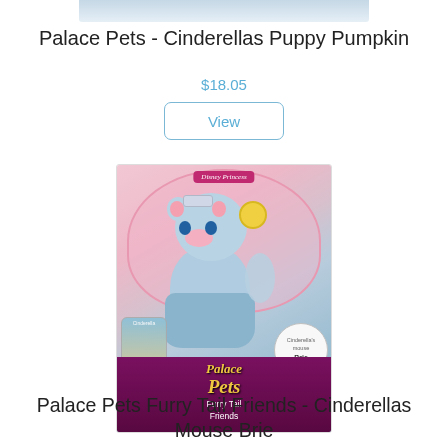[Figure (photo): Top portion of a product image (partially cropped) showing a Palace Pets toy package with blue background]
Palace Pets - Cinderellas Puppy Pumpkin
$18.05
View
[Figure (photo): Palace Pets Furry Tail Friends - Cinderella's Mouse Brie toy in pink packaging. A light blue stuffed mouse character wearing a tiara and yellow accessories, with Disney Princess Palace Pets Furry Tail Friends branding and a Cinderella's mouse Brie badge.]
Palace Pets Furry Tail Friends - Cinderellas Mouse Brie